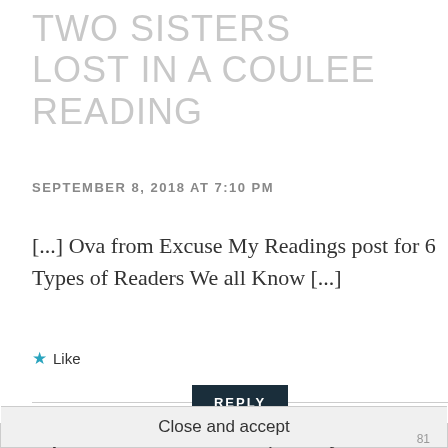TWO SISTERS LOST IN A COULEE READING
SEPTEMBER 8, 2018 AT 7:10 PM
[...] Ova from Excuse My Readings post for 6 Types of Readers We all Know [...]
★ Like
REPLY
Privacy & Cookies: This site uses cookies. By continuing to use this website, you agree to their use.
To find out more, including how to control cookies, see here: Cookie Policy
Close and accept